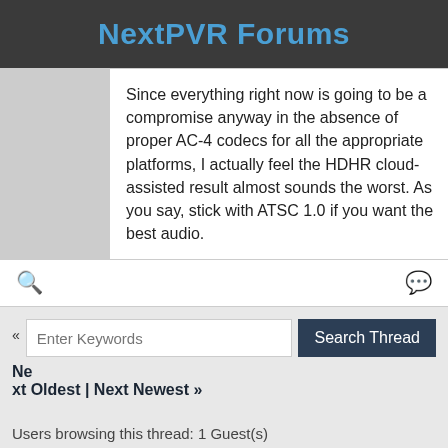NextPVR Forums
Since everything right now is going to be a compromise anyway in the absence of proper AC-4 codecs for all the appropriate platforms, I actually feel the HDHR cloud-assisted result almost sounds the worst. As you say, stick with ATSC 1.0 if you want the best audio.
« Ne
xt Oldest | Next Newest »
Users browsing this thread: 1 Guest(s)